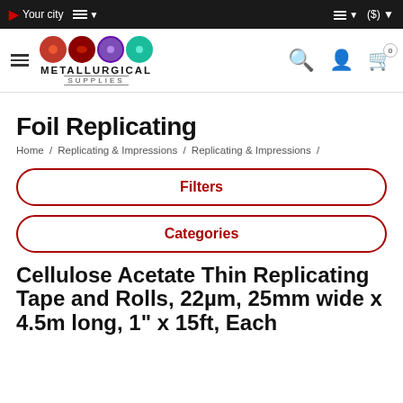Your city  ≡  ▾   ≡ ▾  ($) ▾
[Figure (logo): Metallurgical Supplies logo with colorful gear icons and text METALLURGICAL SUPPLIES]
Foil Replicating
Home / Replicating & Impressions / Replicating & Impressions /
Filters
Categories
Cellulose Acetate Thin Replicating Tape and Rolls, 22µm, 25mm wide x 4.5m long, 1" x 15ft, Each